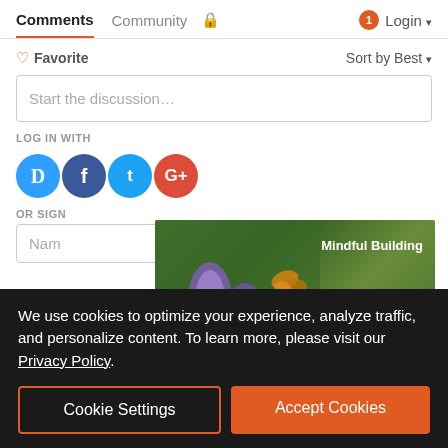Comments  Community  🔒  1  Login ▾
♡ Favorite    Sort by Best ▾
Start the discussion…
LOG IN WITH
[Figure (screenshot): Social login icons: Disqus (blue circle D), Facebook (dark blue f), Twitter (light blue bird), Google+ (red G+)]
[Figure (illustration): Earthtone Construction ad banner with purple flowers, butterfly, text: Mindful Building, Learn more >, Earthtone CONSTRUCTION, UC.744848]
OR SIGN
Nam[e]  [Email]
We use cookies to optimize your experience, analyze traffic, and personalize content. To learn more, please visit our Privacy Policy.
Cookie Settings
Accept Cookies